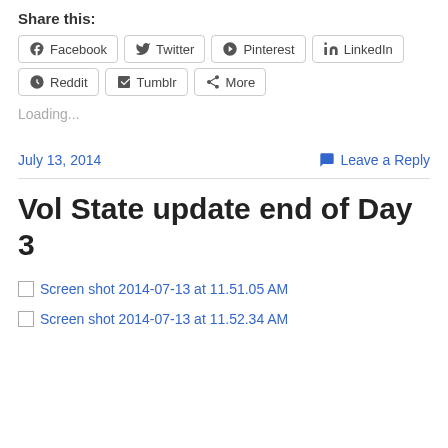Share this:
Facebook  Twitter  Pinterest  LinkedIn  Reddit  Tumblr  More
Loading...
July 13, 2014    Leave a Reply
Vol State update end of Day 3
Screen shot 2014-07-13 at 11.51.05 AM
Screen shot 2014-07-13 at 11.52.34 AM